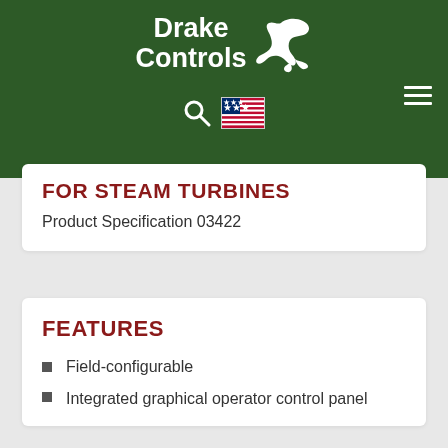Drake Controls
FOR STEAM TURBINES
Product Specification 03422
FEATURES
Field-configurable
Integrated graphical operator control panel